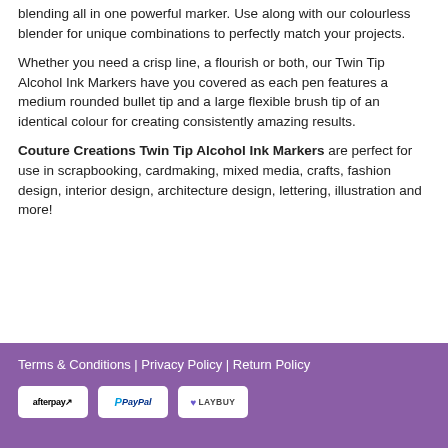blending all in one powerful marker. Use along with our colourless blender for unique combinations to perfectly match your projects.
Whether you need a crisp line, a flourish or both, our Twin Tip Alcohol Ink Markers have you covered as each pen features a medium rounded bullet tip and a large flexible brush tip of an identical colour for creating consistently amazing results.
Couture Creations Twin Tip Alcohol Ink Markers are perfect for use in scrapbooking, cardmaking, mixed media, crafts, fashion design, interior design, architecture design, lettering, illustration and more!
Terms & Conditions | Privacy Policy | Return Policy